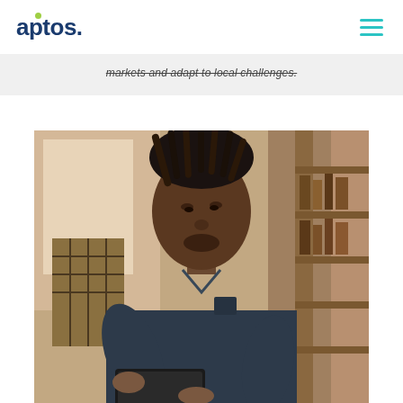aptos.
markets and adapt to local challenges.
[Figure (photo): A man with dreadlocks wearing a dark blue shirt looks down at a tablet device he is holding. The background shows a retail clothing store with hanging garments and wooden shelving.]